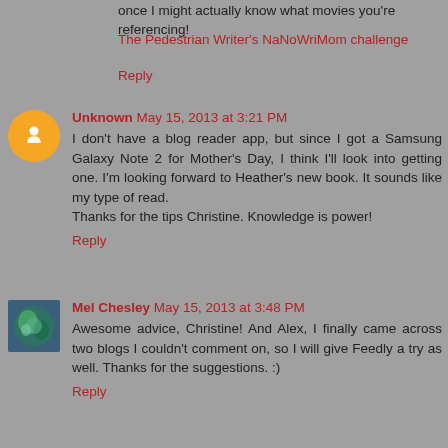once I might actually know what movies you're referencing!
The Pedestrian Writer's NaNoWriMom challenge
Reply
Unknown May 15, 2013 at 3:21 PM
I don't have a blog reader app, but since I got a Samsung Galaxy Note 2 for Mother's Day, I think I'll look into getting one. I'm looking forward to Heather's new book. It sounds like my type of read.
Thanks for the tips Christine. Knowledge is power!
Reply
Mel Chesley May 15, 2013 at 3:48 PM
Awesome advice, Christine! And Alex, I finally came across two blogs I couldn't comment on, so I will give Feedly a try as well. Thanks for the suggestions. :)
Reply